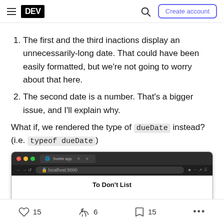DEV — Create account
The first and the third inactions display an unnecessarily-long date. That could have been easily formatted, but we're not going to worry about that here.
The second date is a number. That's a bigger issue, and I'll explain why.
What if, we rendered the type of dueDate instead? (i.e. typeof dueDate)
[Figure (screenshot): Browser screenshot showing a Svelte app at localhost with a 'To Don't List' heading]
15 likes, 6 unicorns, 15 bookmarks